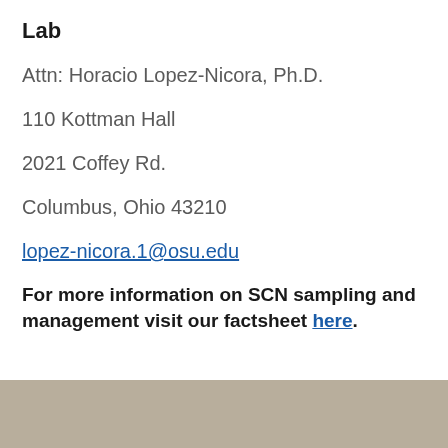Lab
Attn: Horacio Lopez-Nicora, Ph.D.
110 Kottman Hall
2021 Coffey Rd.
Columbus, Ohio 43210
lopez-nicora.1@osu.edu
For more information on SCN sampling and management visit our factsheet here.
[Figure (photo): Tan/beige colored background image at the bottom of the page, partial view of what appears to be a soil or field photograph.]